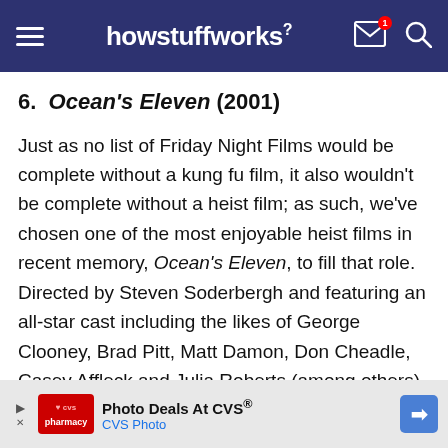howstuffworks
6. Ocean's Eleven (2001)
Just as no list of Friday Night Films would be complete without a kung fu film, it also wouldn't be complete without a heist film; as such, we've chosen one of the most enjoyable heist films in recent memory, Ocean's Eleven, to fill that role. Directed by Steven Soderbergh and featuring an all-star cast including the likes of George Clooney, Brad Pitt, Matt Damon, Don Cheadle, Casey Affleck and Julia Roberts (among others), Ocean's Eleven is a remake of a Rat Pack original that was a...
[Figure (screenshot): CVS Photo advertisement banner at the bottom of the page with red CVS logo, text 'Photo Deals At CVS®' and 'CVS Photo', and a blue direction arrow icon]